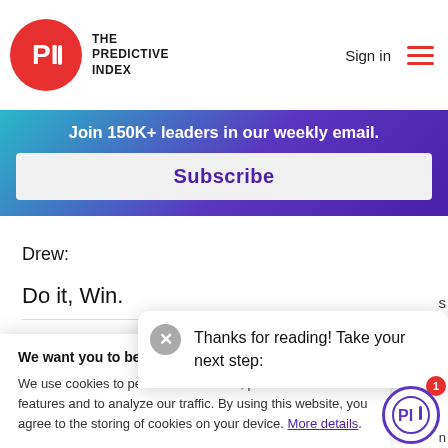[Figure (logo): The Predictive Index logo — red circle with 'PI' text, beside company name 'THE PREDICTIVE INDEX']
Sign in
[Figure (other): Hamburger menu icon with three red horizontal lines]
Join 150K+ leaders in our weekly email.
Subscribe
Drew:
Do it, Win.
We want you to be happy about your data & privacy
We use cookies to personalize content, provide social media features and to analyze our traffic. By using this website, you agree to the storing of cookies on your device. More details.
Thanks for reading! Take your next step:
[Figure (logo): Predictive Index chat bubble icon with PI logo and red badge showing '1']